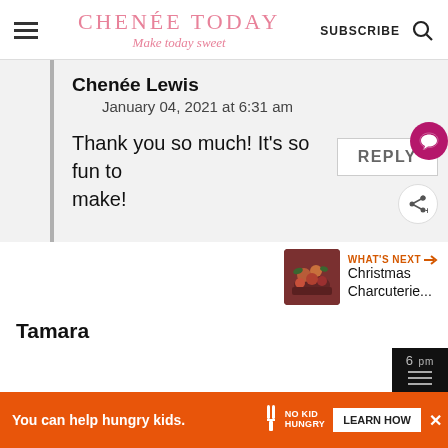CHENÉE TODAY — Make today sweet
Chenée Lewis
January 04, 2021 at 6:31 am
Thank you so much! It's so fun to make!
REPLY
[Figure (screenshot): What's Next widget showing Christmas Charcuterie... with thumbnail]
Tamara
[Figure (infographic): Ad banner: You can help hungry kids. No Kid Hungry. LEARN HOW]